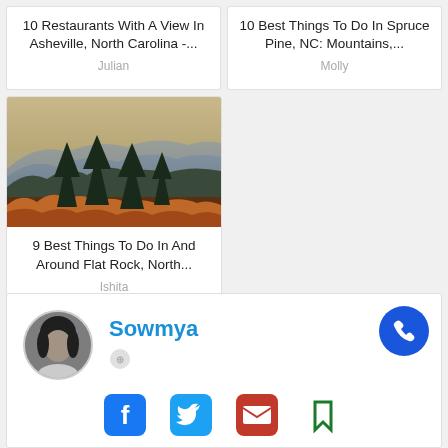10 Restaurants With A View In Asheville, North Carolina -...
Julian
10 Best Things To Do In Spruce Pine, NC: Mountains,...
Molly
[Figure (photo): Mountain landscape with evergreen trees and autumn foliage, hazy blue ridges in background]
9 Best Things To Do In And Around Flat Rock, North...
Ishita
[Figure (photo): Circular profile photo of a woman with dark hair, black and white]
Sowmya
[Figure (infographic): Social media icons: Facebook (blue), Twitter (light blue), Email (red envelope), Bookmark (green). Phone call button (blue circle with phone icon).]